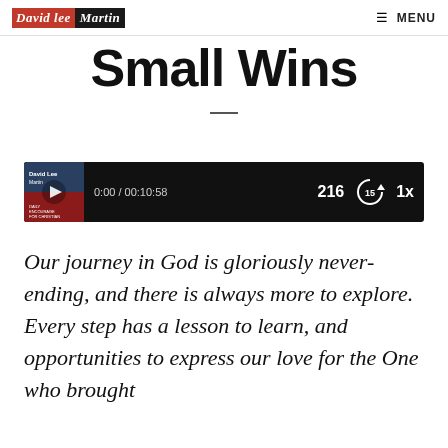David Lee Martin | MENU
Small Wins
[Figure (screenshot): Audio player widget showing thumbnail image of David Lee Martin book cover, play button, time display 0:00 / 00:10:58, play count 216, replay 15s button, and 1x speed button on black background]
Our journey in God is gloriously never-ending, and there is always more to explore. Every step has a lesson to learn, and opportunities to express our love for the One who brought